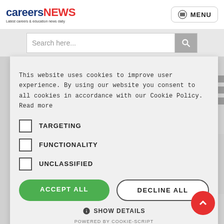careersNEWS — Latest careers & education news daily
Search here...
This website uses cookies to improve user experience. By using our website you consent to all cookies in accordance with our Cookie Policy. Read more
TARGETING
FUNCTIONALITY
UNCLASSIFIED
ACCEPT ALL
DECLINE ALL
SHOW DETAILS
POWERED BY COOKIE-SCRIPT
of jobs
Blockchain Technology Course Launched